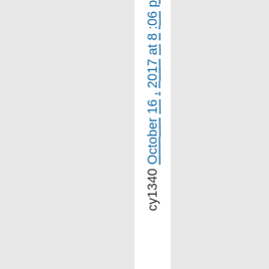cy1340 October 16, 2017 at 8:06 p